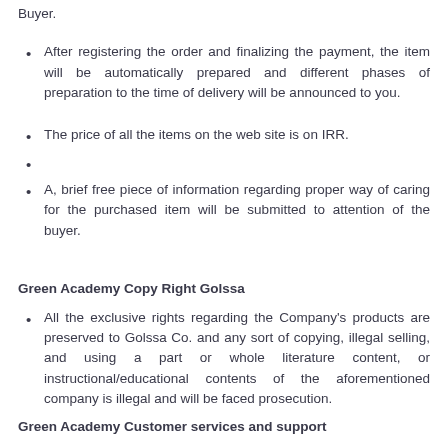Buyer.
After registering the order and finalizing the payment, the item will be automatically prepared and different phases of preparation to the time of delivery will be announced to you.
The price of all the items on the web site is on IRR.
A, brief free piece of information regarding proper way of caring for the purchased item will be submitted to attention of the buyer.
Green Academy Copy Right Golssa
All the exclusive rights regarding the Company's products are preserved to Golssa Co. and any sort of copying, illegal selling, and using a part or whole literature content, or instructional/educational contents of the aforementioned company is illegal and will be faced prosecution.
Green Academy Customer services and support